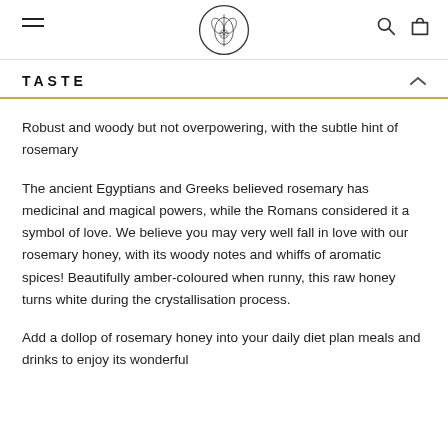[Navigation header with hamburger menu, botanical logo, search and cart icons]
TASTE
Robust and woody but not overpowering, with the subtle hint of rosemary
The ancient Egyptians and Greeks believed rosemary has medicinal and magical powers, while the Romans considered it a symbol of love. We believe you may very well fall in love with our rosemary honey, with its woody notes and whiffs of aromatic spices! Beautifully amber-coloured when runny, this raw honey turns white during the crystallisation process.
Add a dollop of rosemary honey into your daily diet plan meals and drinks to enjoy its wonderful